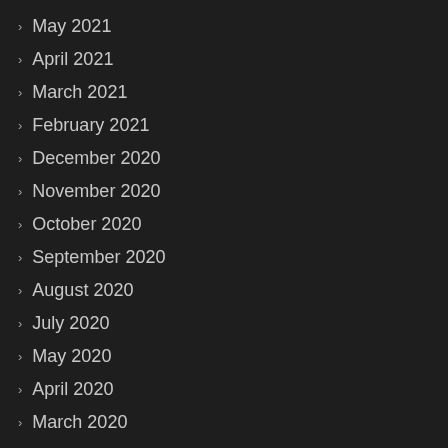May 2021
April 2021
March 2021
February 2021
December 2020
November 2020
October 2020
September 2020
August 2020
July 2020
May 2020
April 2020
March 2020
February 2020